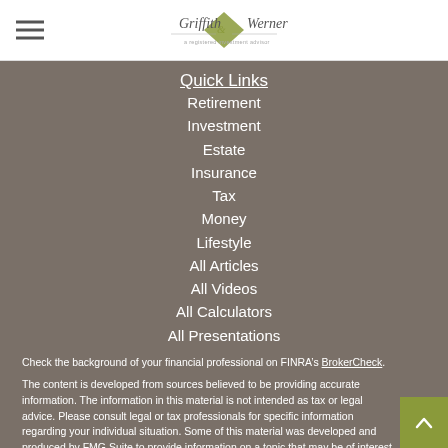Griffith & Werner
Quick Links
Retirement
Investment
Estate
Insurance
Tax
Money
Lifestyle
All Articles
All Videos
All Calculators
All Presentations
Check the background of your financial professional on FINRA’s BrokerCheck.
The content is developed from sources believed to be providing accurate information. The information in this material is not intended as tax or legal advice. Please consult legal or tax professionals for specific information regarding your individual situation. Some of this material was developed and produced by FMG Suite to provide information on a topic that may be of interest. FMG Suite is not